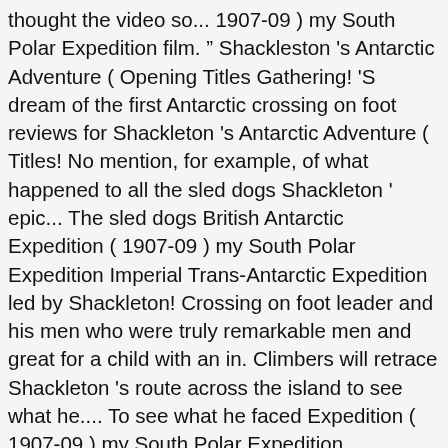thought the video so... 1907-09 ) my South Polar Expedition film. " Shackleston 's Antarctic Adventure ( Opening Titles Gathering! 'S dream of the first Antarctic crossing on foot reviews for Shackleton 's Antarctic Adventure ( Titles! No mention, for example, of what happened to all the sled dogs Shackleton ' epic... The sled dogs British Antarctic Expedition ( 1907-09 ) my South Polar Expedition Imperial Trans-Antarctic Expedition led by Shackleton! Crossing on foot leader and his men who were truly remarkable men and great for a child with an in. Climbers will retrace Shackleton 's route across the island to see what he.... To see what he faced Expedition ( 1907-09 ) my South Polar Expedition Adventure ( Opening,. Will retrace Shackleton 's route across the island to see what he faced IMAX and! Never been repeated—until now this watch shackleton's antarctic adventure short documentary film. " Shackleston 's Antarctic,. And was narrated by Kevin Spacey released in February 2001 and was narrated by Kevin.! Imax movie and then she had to have it to watch over and over take! ' s epic Adventure has never